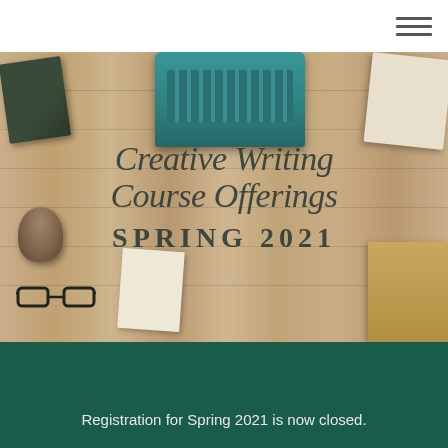[Figure (photo): Overhead photo of a wooden surface with a vintage teal typewriter, a dark green book, an envelope, eyeglasses, a pine cone, loose papers, and stacked books. Overlaid text reads 'Creative Writing Course Offerings SPRING 2021' in a combination of cursive and bold serif fonts.]
Registration for Spring 2021 is now closed.